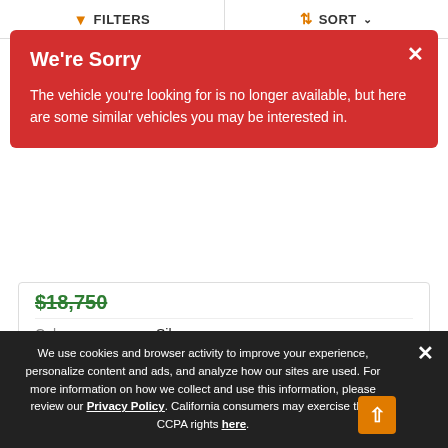FILTERS  SORT
We're Sorry
The vehicle you're looking for is no longer available, but here are some similar vehicles you may be interested in.
|  |  |
| --- | --- |
| Color | Silver |
| Engine | 2 |
| Miles | 39,374 |
Related Article
We use cookies and browser activity to improve your experience, personalize content and ads, and analyze how our sites are used. For more information on how we collect and use this information, please review our Privacy Policy. California consumers may exercise their CCPA rights here.